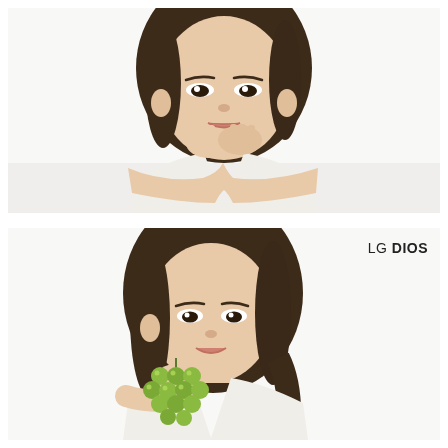[Figure (photo): Young Asian woman with brown hair leaning forward with both hands cupped under her chin, smiling gently, wearing a white sleeveless top, against a white background. Advertising photo for LG DIOS.]
[Figure (photo): Same young Asian woman with brown hair holding a bunch of green grapes up near her face and smiling, wearing a white top, against a white background. LG DIOS branding visible in upper right corner.]
LG DIOS